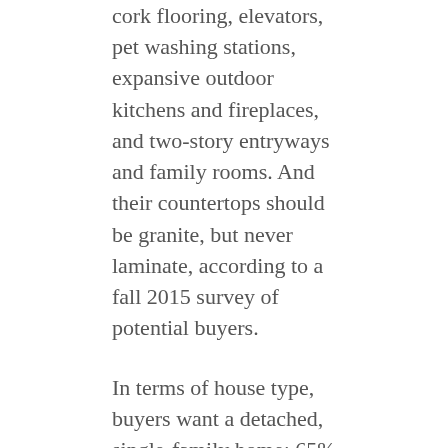cork flooring, elevators, pet washing stations, expansive outdoor kitchens and fireplaces, and two-story entryways and family rooms. And their countertops should be granite, but never laminate, according to a fall 2015 survey of potential buyers.
In terms of house type, buyers want a detached, single-family home: 65% of all buyers and 68% of millennials expressed that preference. That number rises to 72% among Gen-Xers (born between 1965 and 1979) but falls somewhat to 55% of those born before 1945, Quint said.